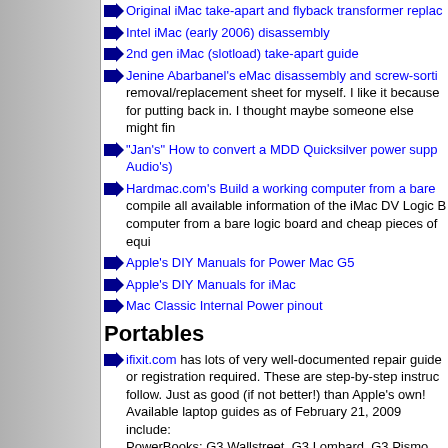Original iMac take-apart and flyback transformer replacement
Intel iMac (early 2006) disassembly
2nd gen iMac (slotload) take-apart guide
Jenine Abarbanel's eMac disassembly and screw-sorting removal/replacement sheet for myself. I like it because for putting back in. I thought maybe someone else might find
"Jan's" How to convert a MDD Quicksilver power supply (Audio's)
Hardmac.com's Build a working computer from a bare compile all available information of the iMac DV Logic Board computer from a bare logic board and cheap pieces of equipment
Apple's DIY Manuals for Power Mac G5
Apple's DIY Manuals for iMac
Mac Classic Internal Power pinout
Portables
ifixit.com has lots of very well-documented repair guides or registration required. These are step-by-step instructions to follow. Just as good (if not better!) than Apple's own! Available laptop guides as of February 21, 2009 include: PowerBooks: G3 Wallstreet, G3 Lombard, G3 Pismo, Titanium 12", Aluminum 15", Aluminum 17". iBooks: Clamshell, G3 12", G3 14", G4 12", G4 14". MacBooks: 13", Unibody 13", Pro 15", Pro 17", Pro Unibody this week, full manual still in progress).
They also sell parts and tools. Thanks to A.A. Fussy for submitting every time they add another take-apart guide!